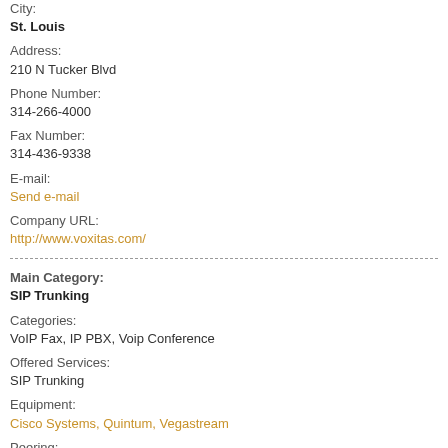City:
St. Louis
Address:
210 N Tucker Blvd
Phone Number:
314-266-4000
Fax Number:
314-436-9338
E-mail:
Send e-mail
Company URL:
http://www.voxitas.com/
Main Category:
SIP Trunking
Categories:
VoIP Fax, IP PBX, Voip Conference
Offered Services:
SIP Trunking
Equipment:
Cisco Systems, Quintum, Vegastream
Peering:
No
Free PC-PC cals:
No
Voice Mail:
No
Help for tuning equipment:
No